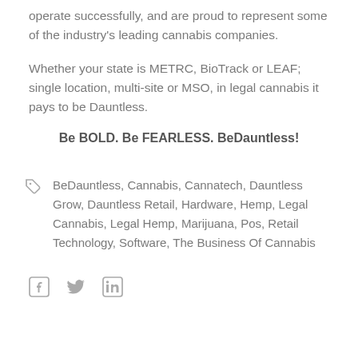operate successfully, and are proud to represent some of the industry's leading cannabis companies.
Whether your state is METRC, BioTrack or LEAF; single location, multi-site or MSO, in legal cannabis it pays to be Dauntless.
Be BOLD. Be FEARLESS. BeDauntless!
BeDauntless, Cannabis, Cannatech, Dauntless Grow, Dauntless Retail, Hardware, Hemp, Legal Cannabis, Legal Hemp, Marijuana, Pos, Retail Technology, Software, The Business Of Cannabis
[Figure (other): Social media icons: Facebook, Twitter, LinkedIn]